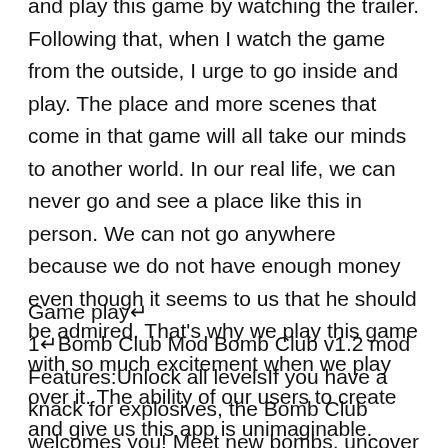and play this game by watching the trailer. Following that, when I watch the game from the outside, I urge to go inside and play. The place and more scenes that come in that game will all take our minds to another world. In our real life, we can never go and see a place like this in person. We can not go anywhere because we do not have enough money even though it seems to us that he should be admired. That's why we play this game with so much excitement when we play over it. The ability of our users to create and give us this app is unimaginable. Driving plays an essential role in this sport. Google play store This game was last released in 2019 by Astragon Entertainment GmbH.◆
Game play↵
1↵Bomb Club Mod Bomb Club v1.2 mod Features:Unlock all levelsIf you have a knack for explosives, the Bomb Club welcomes you! Meet new bombs, uncover new challenges, and create awesome chain reactions in this explosive puzzle game!Bring your best bomb fu to detonate all bombs on the